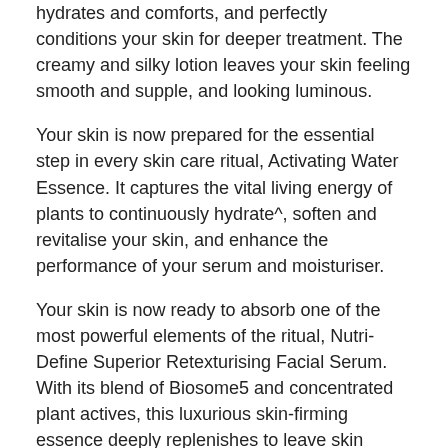hydrates and comforts, and perfectly conditions your skin for deeper treatment. The creamy and silky lotion leaves your skin feeling smooth and supple, and looking luminous.
Your skin is now prepared for the essential step in every skin care ritual, Activating Water Essence. It captures the vital living energy of plants to continuously hydrate^, soften and revitalise your skin, and enhance the performance of your serum and moisturiser.
Your skin is now ready to absorb one of the most powerful elements of the ritual, Nutri-Define Superior Retexturising Facial Serum. With its blend of Biosome5 and concentrated plant actives, this luxurious skin-firming essence deeply replenishes to leave skin visibly radiant and rejuvenated.
Next, it's time to moisturise. For day, you've got a choice between two luxurious textures with the same anti-ageing benefits: our rich Nutri-Define Multi-Correcting Day Cream or our NEW lightweight Nutri-Define Restorative Hydrating Emulsion.